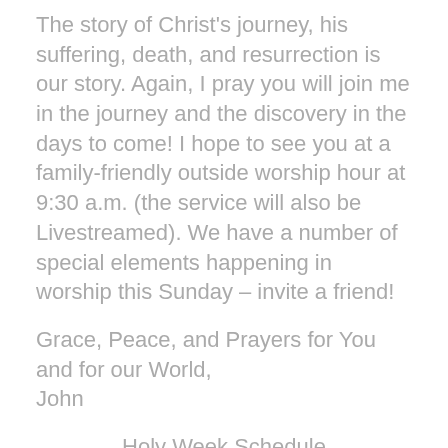The story of Christ's journey, his suffering, death, and resurrection is our story. Again, I pray you will join me in the journey and the discovery in the days to come! I hope to see you at a family-friendly outside worship hour at 9:30 a.m. (the service will also be Livestreamed). We have a number of special elements happening in worship this Sunday – invite a friend!
Grace, Peace, and Prayers for You and for our World,
John
Holy Week Schedule
Palm Sunday Outdoor and
Livestreamed Service